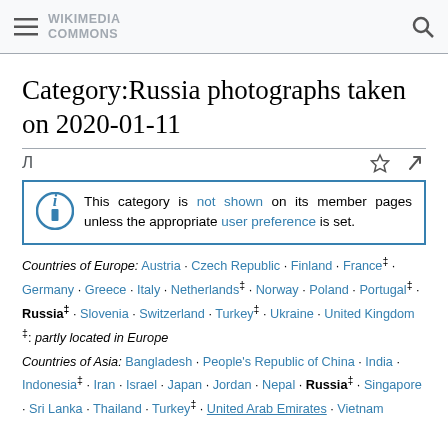Wikimedia Commons
Category:Russia photographs taken on 2020-01-11
This category is not shown on its member pages unless the appropriate user preference is set.
Countries of Europe: Austria · Czech Republic · Finland · France‡ · Germany · Greece · Italy · Netherlands‡ · Norway · Poland · Portugal‡ · Russia‡ · Slovenia · Switzerland · Turkey‡ · Ukraine · United Kingdom
‡: partly located in Europe
Countries of Asia: Bangladesh · People's Republic of China · India · Indonesia‡ · Iran · Israel · Japan · Jordan · Nepal · Russia‡ · Singapore · Sri Lanka · Thailand · Turkey‡ · United Arab Emirates · Vietnam